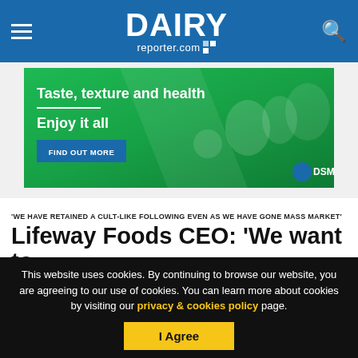DAIRY reporter.com
[Figure (infographic): DSM advertisement: green background with food/beverage products, text 'Taste, texture and health / Enjoy it all' with 'FIND OUT MORE' button and DSM logo]
'WE HAVE RETAINED A CULT-LIKE FOLLOWING EVEN AS WE HAVE GONE MASS MARKET'
Lifeway Foods CEO: 'We want to
This website uses cookies. By continuing to browse our website, you are agreeing to our use of cookies. You can learn more about cookies by visiting our privacy & cookies policy page.
I Agree